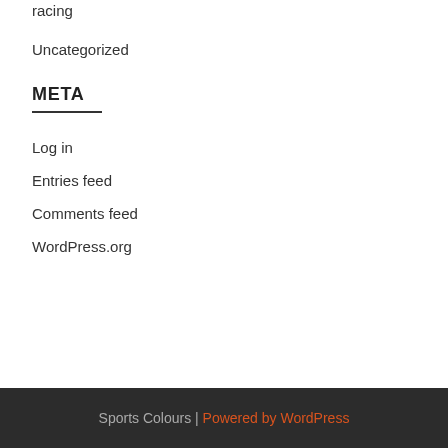racing
Uncategorized
META
Log in
Entries feed
Comments feed
WordPress.org
Sports Colours | Powered by WordPress